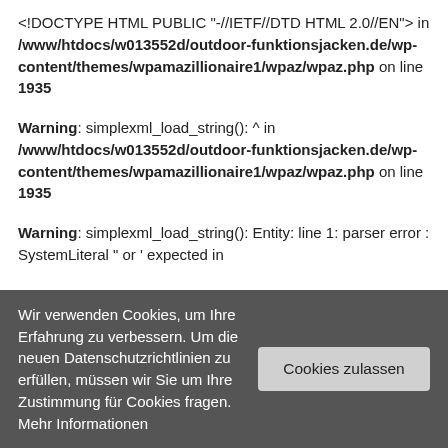<!DOCTYPE HTML PUBLIC "-//IETF//DTD HTML 2.0//EN"> in /www/htdocs/w013552d/outdoor-funktionsjacken.de/wp-content/themes/wpamazillionaire1/wpaz/wpaz.php on line 1935
Warning: simplexml_load_string(): ^ in /www/htdocs/w013552d/outdoor-funktionsjacken.de/wp-content/themes/wpamazillionaire1/wpaz/wpaz.php on line 1935
Warning: simplexml_load_string(): Entity: line 1: parser error : SystemLiteral " or ' expected in
Wir verwenden Cookies, um Ihre Erfahrung zu verbessern. Um die neuen Datenschutzrichtlinien zu erfüllen, müssen wir Sie um Ihre Zustimmung für Cookies fragen. Mehr Informationen